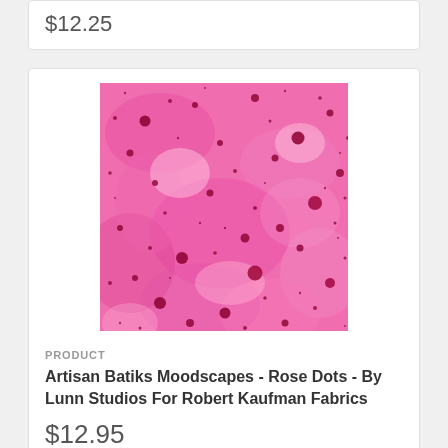$12.25
[Figure (photo): Pink and magenta batik fabric with scattered dark red/maroon dots of various sizes on a mottled pink background]
PRODUCT
Artisan Batiks Moodscapes - Rose Dots - By Lunn Studios For Robert Kaufman Fabrics
$12.95